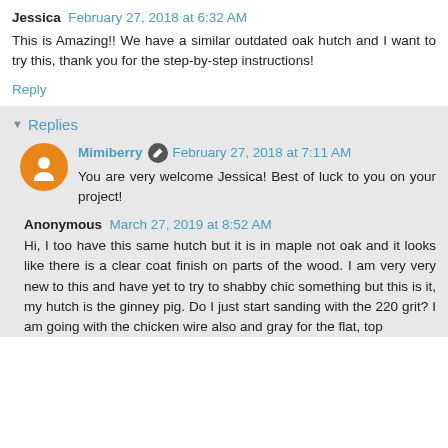Jessica  February 27, 2018 at 6:32 AM
This is Amazing!! We have a similar outdated oak hutch and I want to try this, thank you for the step-by-step instructions!
Reply
Replies
Mimiberry  February 27, 2018 at 7:11 AM
You are very welcome Jessica! Best of luck to you on your project!
Anonymous  March 27, 2019 at 8:52 AM
Hi, I too have this same hutch but it is in maple not oak and it looks like there is a clear coat finish on parts of the wood. I am very very new to this and have yet to try to shabby chic something but this is it, my hutch is the ginney pig. Do I just start sanding with the 220 grit? I am going with the chicken wire also and gray for the flat, top